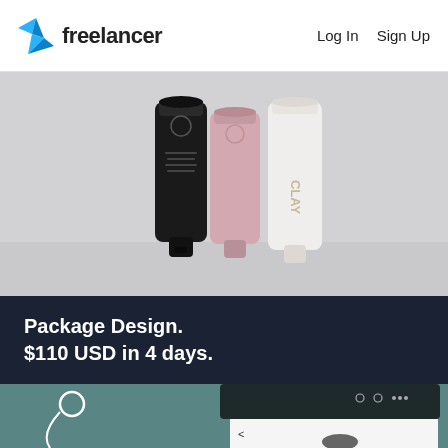freelancer | Log In  Sign Up
[Figure (photo): Three cosmetic/beauty product tubes standing upright against a light grey background: a black tube, a pink tube, and a white clay tube]
Package Design.
$110 USD in 4 days.
[Figure (screenshot): A teal/blue background with white earphones and a dark tablet/device screen showing a stylized tree illustration with birds flying]